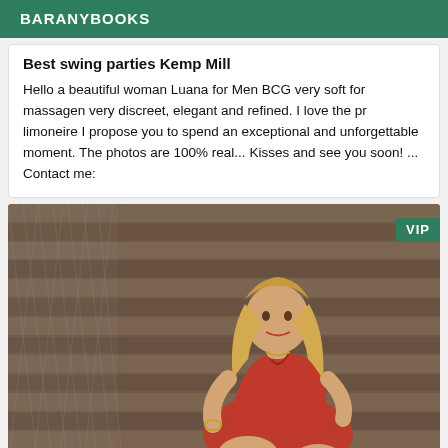BARANYBOOKS
Best swing parties Kemp Mill
Hello a beautiful woman Luana for Men BCG very soft for massagen very discreet, elegant and refined. I love the pr limoneire I propose you to spend an exceptional and unforgettable moment. The photos are 100% real... Kisses and see you soon! ... Contact me:
[Figure (photo): A blonde woman in a red dress sitting against a wooden plank wall background with a chain-link fence visible on the left. A VIP badge appears in the top right corner.]